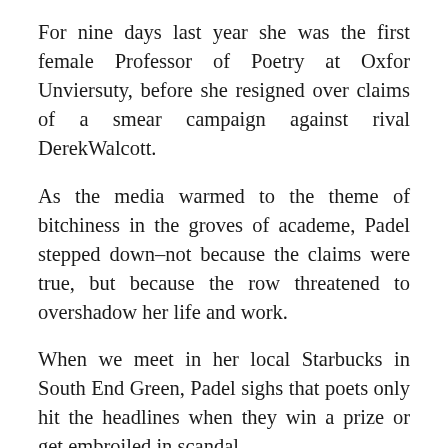For nine days last year she was the first female Professor of Poetry at Oxfor Unviersuty, before she resigned over claims of a smear campaign against rival DerekWalcott.
As the media warmed to the theme of bitchiness in the groves of academe, Padel stepped down–not because the claims were true, but because the row threatened to overshadow her life and work.
When we meet in her local Starbucks in South End Green, Padel sighs that poets only hit the headlines when they win a prize or get embroiled in scandal.
“I remember in 1990, at the first T S Eliot Prize, seeing the row of my friends’ faces before the winner was announced and